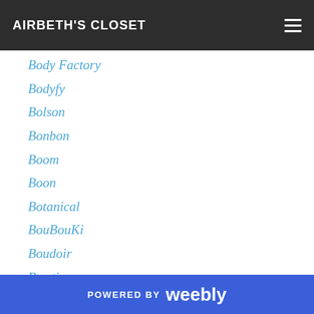AIRBETH'S CLOSET
Body Factory
Bodyfy
Bolson
Bonbon
Boom
Boon
Botanical
BouBouKi
Boudoir
Bowtique
Boys To The Bone
Brazilia
:::Breath:::
Breathe
[Breathe]
POWERED BY weebly